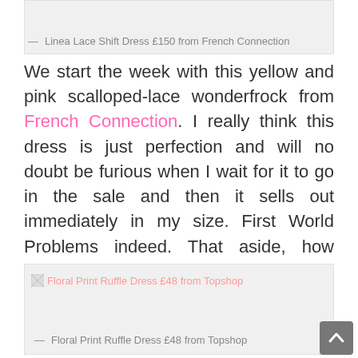Linea Lace Shift Dress £150 from French Connection
We start the week with this yellow and pink scalloped-lace wonderfrock from French Connection. I really think this dress is just perfection and will no doubt be furious when I wait for it to go in the sale and then it sells out immediately in my size. First World Problems indeed. That aside, how adorable is that little bow? SWOON.
[Figure (photo): Broken image placeholder for Floral Print Ruffle Dress £48 from Topshop]
Floral Print Ruffle Dress £48 from Topshop